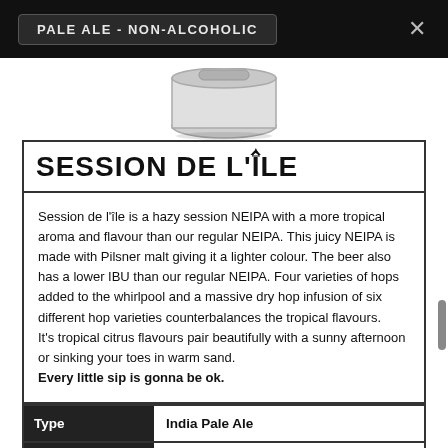PALE ALE - NON-ALCOHOLIC
[Figure (illustration): Bottom of a beer can visible at top of content area]
SESSION DE L'ÎLE
Session de l'île is a hazy session NEIPA with a more tropical aroma and flavour than our regular NEIPA. This juicy NEIPA is made with Pilsner malt giving it a lighter colour. The beer also has a lower IBU than our regular NEIPA. Four varieties of hops added to the whirlpool and a massive dry hop infusion of six different hop varieties counterbalances the tropical flavours. It's tropical citrus flavours pair beautifully with a sunny afternoon or sinking your toes in warm sand. Every little sip is gonna be ok.
| Type |  |
| --- | --- |
| Type | India Pale Ale |
| Hops | 7 varieties (Cashmere, Azacca) |